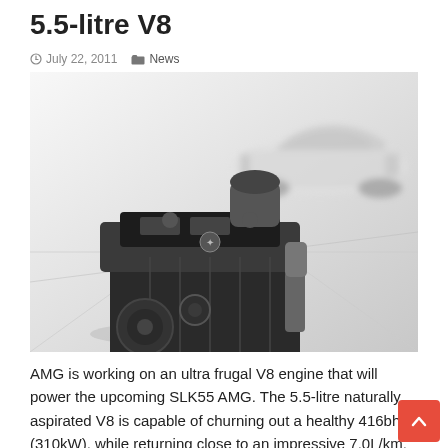5.5-litre V8
July 22, 2011   News
[Figure (photo): A Mercedes-AMG 5.5-litre V8 engine displayed on a white reflective surface in the foreground, with a white Mercedes-Benz SLK sports car blurred in the background. Black and white photograph.]
AMG is working on an ultra frugal V8 engine that will power the upcoming SLK55 AMG. The 5.5-litre naturally aspirated V8 is capable of churning out a healthy 416bhp (310kW), while returning close to an impressive 7.0L/km. Even without the aid of turbochargers, the engine will produce 45 more horsepower …